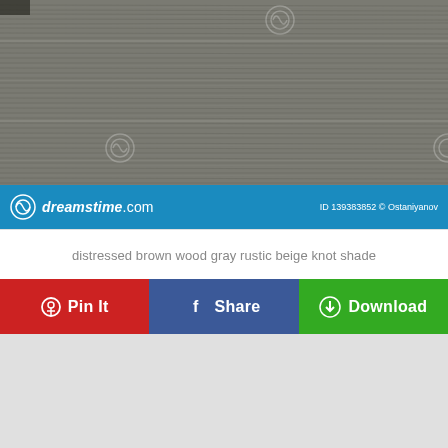[Figure (photo): Distressed brown wood gray rustic beige knot shade texture photo with dreamstime.com watermark]
dreamstime.com   ID 139383852 © Ostaniyanov
distressed brown wood gray rustic beige knot shade
Pin It   Share   Download
[Figure (other): Gray advertisement placeholder area]